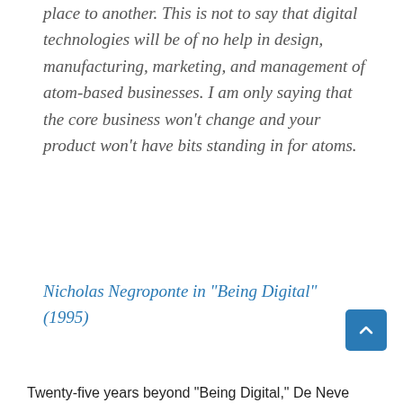place to another. This is not to say that digital technologies will be of no help in design, manufacturing, marketing, and management of atom-based businesses. I am only saying that the core business won't change and your product won't have bits standing in for atoms.
Nicholas Negroponte in “Being Digital” (1995)
Twenty-five years beyond “Being Digital,” De Neve